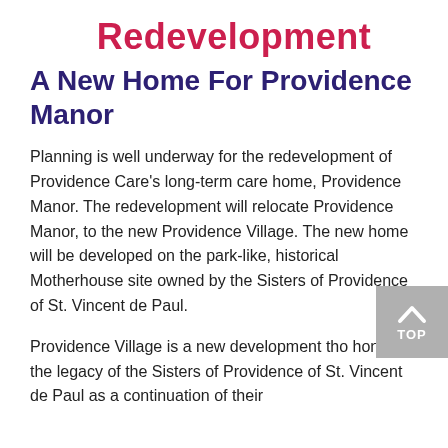Redevelopment
A New Home For Providence Manor
Planning is well underway for the redevelopment of Providence Care's long-term care home, Providence Manor. The redevelopment will relocate Providence Manor, to the new Providence Village. The new home will be developed on the park-like, historical Motherhouse site owned by the Sisters of Providence of St. Vincent de Paul.
Providence Village is a new development that honors the legacy of the Sisters of Providence of St. Vincent de Paul as a continuation of their